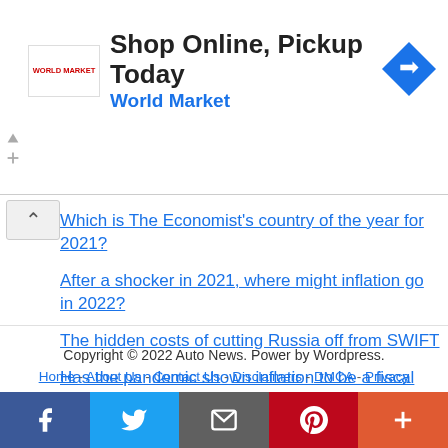[Figure (infographic): Advertisement banner: Shop Online, Pickup Today - World Market with logo and navigation icon]
Which is The Economist's country of the year for 2021?
After a shocker in 2021, where might inflation go in 2022?
The hidden costs of cutting Russia off from SWIFT
Has the pandemic shown inflation to be a fiscal phenomenon?
Copyright © 2022 Auto News. Power by Wordpress.
Home - About Us - Contact Us - Disclaimers - DMCA - Privacy